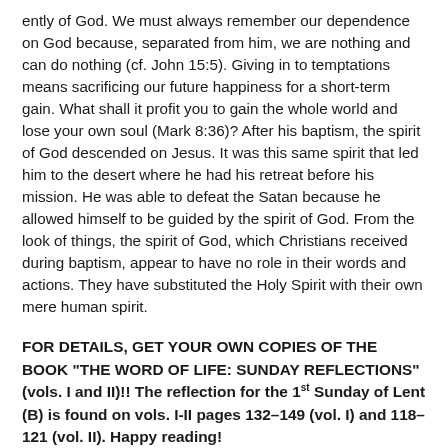ently of God. We must always remember our dependence on God because, separated from him, we are nothing and can do nothing (cf. John 15:5). Giving in to temptations means sacrificing our future happiness for a short-term gain. What shall it profit you to gain the whole world and lose your own soul (Mark 8:36)? After his baptism, the spirit of God descended on Jesus. It was this same spirit that led him to the desert where he had his retreat before his mission. He was able to defeat the Satan because he allowed himself to be guided by the spirit of God. From the look of things, the spirit of God, which Christians received during baptism, appear to have no role in their words and actions. They have substituted the Holy Spirit with their own mere human spirit.
FOR DETAILS, GET YOUR OWN COPIES OF THE BOOK "THE WORD OF LIFE: SUNDAY REFLECTIONS" (vols. I and II)!! The reflection for the 1st Sunday of Lent (B) is found on vols. I-II pages 132–149 (vol. I) and 118–121 (vol. II). Happy reading!